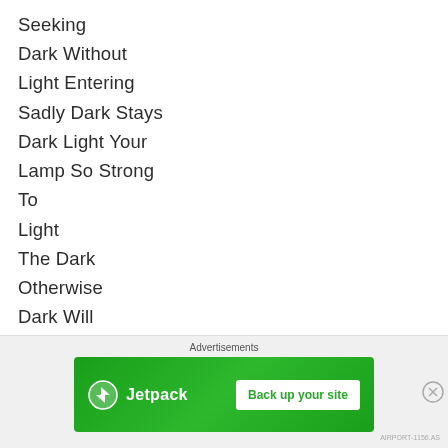Seeking
Dark Without
Light Entering
Sadly Dark Stays
Dark Light Your
Lamp So Strong
To
Light
The Dark
Otherwise
Dark Will
Eventually
Erase All
Light Without
Advertisements — Jetpack: Back up your site